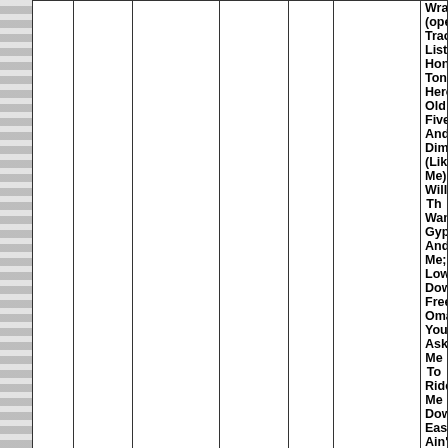| LP | Image | Artist | Album | Year | Catalog | Notes |
| --- | --- | --- | --- | --- | --- | --- |
|  |  |  |  |  |  | Wrap (opened); Track Listing Honky Tonk Heroes; Old Five And Dimmers (Like Me); Willie The Wandering Gypsy And Me; Low Down Freedom; Omaha; You Asked Me To Ride Me Down Easy; Ain't No God In Mexico; Black Rose; We Had It All |
| LP | [album image] | Waylon Jennings | Honky Tonk Heroes | 1973 | APL1 0240 | RCA Victor Record Label Album cover has minor wear; Record appears new Track Listing Honky Tonk Heroes; Old |